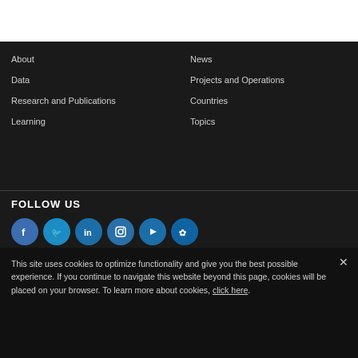About
Data
Research and Publications
Learning
News
Projects and Operations
Countries
Topics
FOLLOW US
[Figure (infographic): Social media icons: Facebook, Twitter, LinkedIn, Instagram, YouTube, Flickr]
NEWSLETTER
This site uses cookies to optimize functionality and give you the best possible experience. If you continue to navigate this website beyond this page, cookies will be placed on your browser. To learn more about cookies, click here.